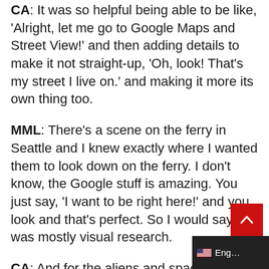CA: It was so helpful being able to be like, 'Alright, let me go to Google Maps and Street View!' and then adding details to make it not straight-up, 'Oh, look! That's my street I live on.' and making it more its own thing too.
MML: There's a scene on the ferry in Seattle and I knew exactly where I wanted them to look down on the ferry. I don't know, the Google stuff is amazing. You just say, 'I want to be right here!' and you look and that's perfect. So I would say it was mostly visual research.
CA: And for the aliens and spaceship